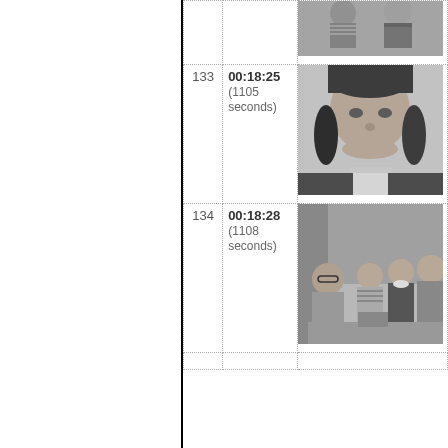| # | Timecode | Frame |
| --- | --- | --- |
|  |  | (top partial - two children in striped shirt and dark dress) |
| 133 | 00:18:25 (1105 seconds) | (close-up of girl with dark bangs smiling) |
| 134 | 00:18:28 (1108 seconds) | (group scene - man with glasses, boy in striped shirt, girl in dark dress, woman) |